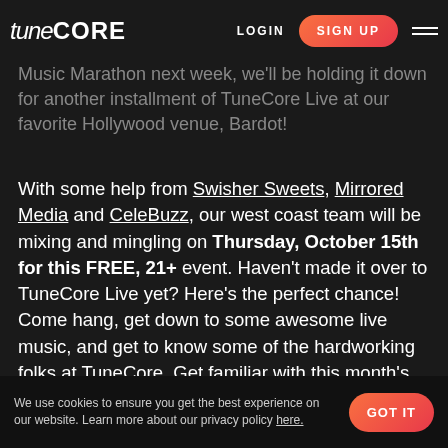TuneCore — LOGIN | SIGN UP
While much of the independent music world will be [logo overlay] Music Marathon next week, we'll be holding it down for another installment of TuneCore Live at our favorite Hollywood venue, Bardot!
With some help from Swisher Sweets, Mirrored Media and CeleBuzz, our west coast team will be mixing and mingling on Thursday, October 15th for this FREE, 21+ event. Haven't made it over to TuneCore Live yet? Here's the perfect chance! Come hang, get down to some awesome live music, and get to know some of the hardworking folks at TuneCore. Get familiar with this month's line-up below, then head over to Facebook to RSVP. See you out there!
We use cookies to ensure you get the best experience on our website. Learn more about our privacy policy here.